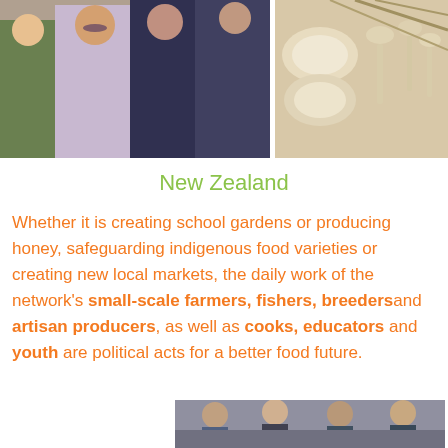[Figure (photo): Photo collage showing people at a food/market event on the left and biodegradable cutlery/plates on the right]
New Zealand
Whether it is creating school gardens or producing honey, safeguarding indigenous food varieties or creating new local markets, the daily work of the network's small-scale farmers, fishers, breedersand artisan producers, as well as cooks, educators and youth are political acts for a better food future.
[Figure (photo): Photo of people at a meeting or event, partially visible at bottom of page]